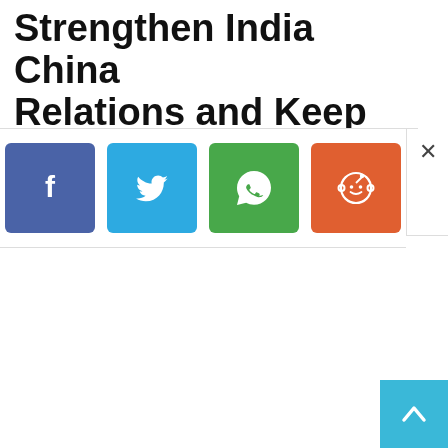Strengthen India China Relations and Keep the US at
[Figure (screenshot): Social media share buttons overlay showing Facebook (blue), Twitter (light blue), WhatsApp (green), and Reddit (orange-red) share icons, with a close (X) button on the right]
[Figure (other): Scroll-to-top button in light blue at bottom right corner with an upward chevron arrow]